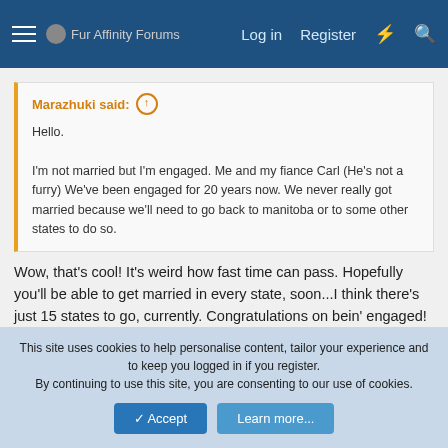Fur Affinity Forums | Log in | Register
Marazhuki said: ↑

Hello.

I'm not married but I'm engaged. Me and my fiance Carl (He's not a furry) We've been engaged for 20 years now. We never really got married because we'll need to go back to manitoba or to some other states to do so.
Wow, that's cool! It's weird how fast time can pass. Hopefully you'll be able to get married in every state, soon...I think there's just 15 states to go, currently. Congratulations on bein' engaged!
@Butters: I was just kidding, there...we met back in college, and
This site uses cookies to help personalise content, tailor your experience and to keep you logged in if you register.
By continuing to use this site, you are consenting to our use of cookies.
Accept | Learn more...